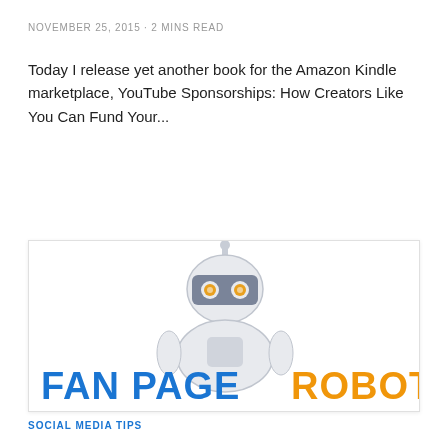NOVEMBER 25, 2015 · 2 MINS READ
Today I release yet another book for the Amazon Kindle marketplace, YouTube Sponsorships: How Creators Like You Can Fund Your...
Read More
[Figure (logo): Fan Page Robot logo: a cartoon robot illustration above the text 'FAN PAGE ROBOT' in blue and orange bold letters]
SOCIAL MEDIA TIPS